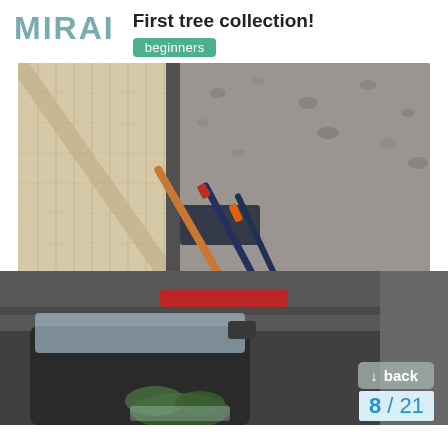[Figure (logo): MIRAI logo in teal/blue-gray block letters]
First tree collection!
beginners
[Figure (photo): Tools including loppers and pruning saws laid on gravel ground next to a house siding wall]
[Figure (photo): Car trunk open with a small bonsai tree visible inside, red brake light visible]
back
8 / 21